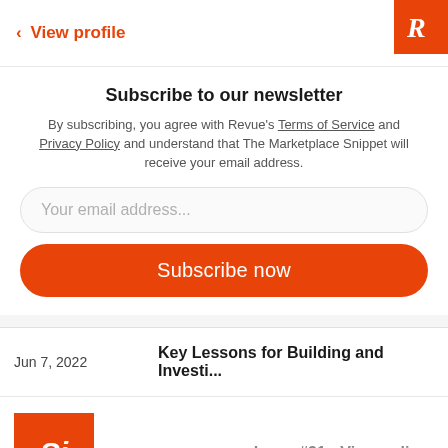< View profile
Subscribe to our newsletter
By subscribing, you agree with Revue's Terms of Service and Privacy Policy and understand that The Marketplace Snippet will receive your email address.
Your email address...
Subscribe now
| Date | Title |
| --- | --- |
| Jun 7, 2022 | Key Lessons for Building and Investi... |
[Figure (logo): Orange square with 'Si' italic text logo]
Issue #31 • View online